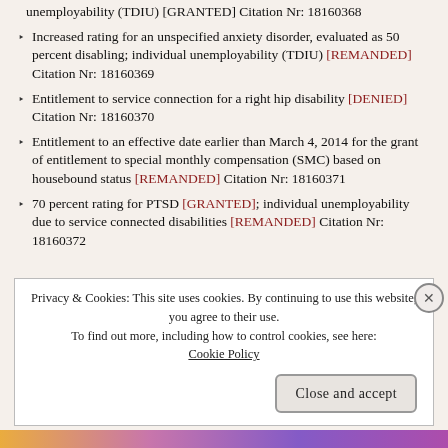unemployability (TDIU) [GRANTED] Citation Nr: 18160368
Increased rating for an unspecified anxiety disorder, evaluated as 50 percent disabling; individual unemployability (TDIU) [REMANDED] Citation Nr: 18160369
Entitlement to service connection for a right hip disability [DENIED] Citation Nr: 18160370
Entitlement to an effective date earlier than March 4, 2014 for the grant of entitlement to special monthly compensation (SMC) based on housebound status [REMANDED] Citation Nr: 18160371
70 percent rating for PTSD [GRANTED]; individual unemployability due to service connected disabilities [REMANDED] Citation Nr: 18160372
Privacy & Cookies: This site uses cookies. By continuing to use this website, you agree to their use.
To find out more, including how to control cookies, see here: Cookie Policy
Close and accept